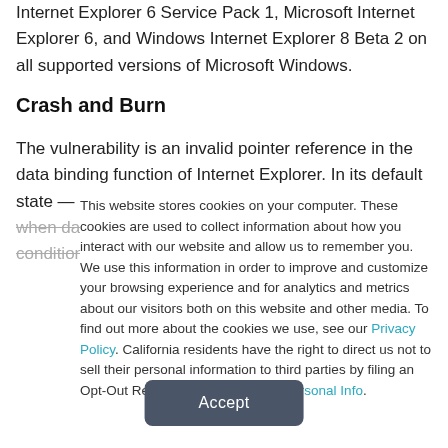Internet Explorer 6 Service Pack 1, Microsoft Internet Explorer 6, and Windows Internet Explorer 8 Beta 2 on all supported versions of Microsoft Windows.
Crash and Burn
The vulnerability is an invalid pointer reference in the data binding function of Internet Explorer. In its default state — when data binding is enabled, that is — certain conditions
This website stores cookies on your computer. These cookies are used to collect information about how you interact with our website and allow us to remember you. We use this information in order to improve and customize your browsing experience and for analytics and metrics about our visitors both on this website and other media. To find out more about the cookies we use, see our Privacy Policy. California residents have the right to direct us not to sell their personal information to third parties by filing an Opt-Out Request: Do Not Sell My Personal Info.